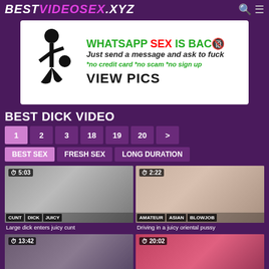BESTVIDEOSEX.XYZ
[Figure (screenshot): Advertisement banner: WHATSAPP SEX IS BACK - Just send a message and ask to fuck - *no credit card *no scam *no sign up - VIEW PICS]
BEST DICK VIDEO
1 2 3 18 19 20 >
BEST SEX | FRESH SEX | LONG DURATION
[Figure (screenshot): Video thumbnail: duration 5:03. Tags: CUNT, DICK, JUICY]
Large dick enters juicy cunt
[Figure (screenshot): Video thumbnail: duration 2:22. Tags: AMATEUR, ASIAN, BLOWJOB]
Driving in a juicy oriental pussy
[Figure (screenshot): Video thumbnail: duration 13:42]
[Figure (screenshot): Video thumbnail: duration 20:02]